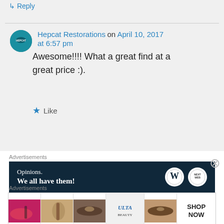↳ Reply
Hepcat Restorations on April 10, 2017 at 6:57 pm
Awesome!!!! What a great find at a great price :).
Like
Advertisements
[Figure (screenshot): WordPress advertisement banner: dark navy background with text 'Opinions. We all have them!' and WordPress logo circle]
Advertisements
[Figure (screenshot): Ulta Beauty advertisement strip showing makeup images: lips, brush, eye, Ulta logo, eyes, and SHOP NOW button]